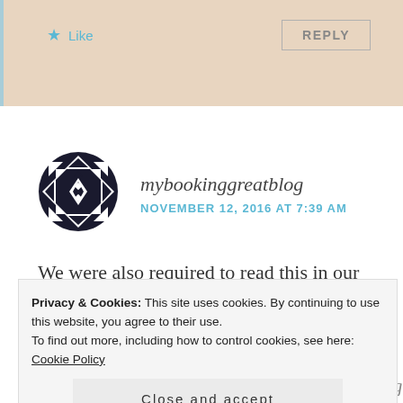[Figure (other): Like button with star icon and Reply button on beige/tan background bar]
[Figure (logo): Circular geometric avatar with black and white diamond/star quilt pattern for mybookinggreatblog]
mybookinggreatblog
NOVEMBER 12, 2016 AT 7:39 AM
We were also required to read this in our English
Privacy & Cookies: This site uses cookies. By continuing to use this website, you agree to their use.
To find out more, including how to control cookies, see here: Cookie Policy
Close and accept
because this is one of those books I cannot imagine